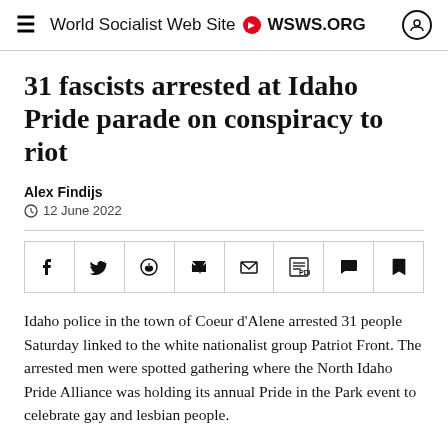World Socialist Web Site • WSWS.ORG
31 fascists arrested at Idaho Pride parade on conspiracy to riot
Alex Findijs
12 June 2022
[Figure (other): Social share buttons bar: Facebook, Twitter, WhatsApp, Telegram, Email, PDF, Comment, Bookmark]
Idaho police in the town of Coeur d'Alene arrested 31 people Saturday linked to the white nationalist group Patriot Front. The arrested men were spotted gathering where the North Idaho Pride Alliance was holding its annual Pride in the Park event to celebrate gay and lesbian people.